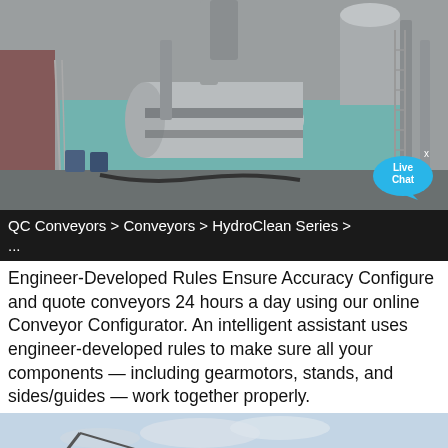[Figure (photo): Industrial conveyor/rotary drum equipment at an outdoor facility, large cylindrical metal drum with piping and steel structure, teal/green building wall in background, black and white toned photo]
QC Conveyors > Conveyors > HydroClean Series > ...
Engineer-Developed Rules Ensure Accuracy Configure and quote conveyors 24 hours a day using our online Conveyor Configurator. An intelligent assistant uses engineer-developed rules to make sure all your components — including gearmotors, stands, and sides/guides — work together properly.
[Figure (photo): Outdoor industrial equipment scene with crane or conveyor arm visible against a cloudy sky, partial view at bottom of page]